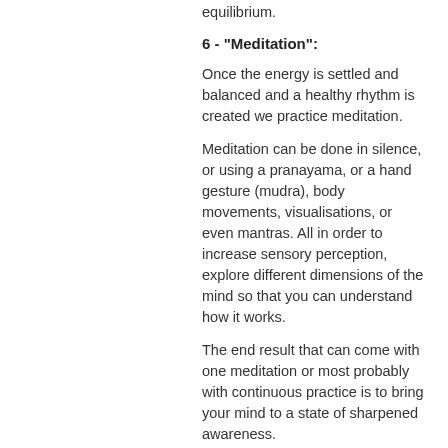equilibrium.
6 - "Meditation":
Once the energy is settled and balanced and a healthy rhythm is created we practice meditation.
Meditation can be done in silence, or using a pranayama, or a hand gesture (mudra), body movements, visualisations, or even mantras. All in order to increase sensory perception, explore different dimensions of the mind so that you can understand how it works.
The end result that can come with one meditation or most probably with continuous practice is to bring your mind to a state of sharpened awareness.
Meditation does not control the mind, instead it teaches how to use your mind its full potential.
Meditation quietens disturbing thoughts that blocks this connection.
Meditation therefore promotes a sense of well being, allows the body to heal, brings peace, develops intuition, releases unconscious habits, subconscious fears and blocks.